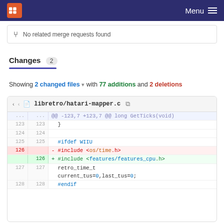Menu
No related merge requests found
Changes 2
Showing 2 changed files with 77 additions and 2 deletions
| old | new | code |
| --- | --- | --- |
| ... | ... | @@ -123,7 +123,7 @@ long GetTicks(void) |
| 123 | 123 | } |
| 124 | 124 |  |
| 125 | 125 | #ifdef WIIU |
| 126 |  | - #include <os/time.h> |
|  | 126 | + #include <features/features_cpu.h> |
| 127 | 127 | retro_time_t current_tus=0,last_tus=0; |
| 128 | 128 | #endif |